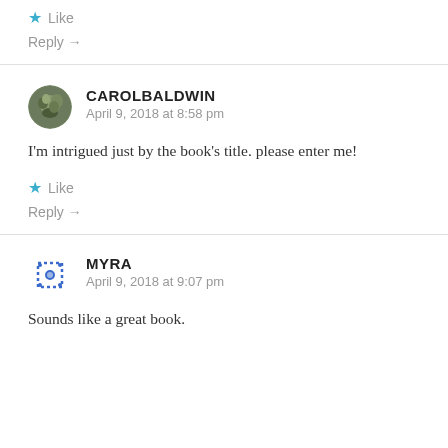★ Like
Reply →
CAROLBALDWIN
April 9, 2018 at 8:58 pm
I'm intrigued just by the book's title. please enter me!
★ Like
Reply →
MYRA
April 9, 2018 at 9:07 pm
Sounds like a great book.